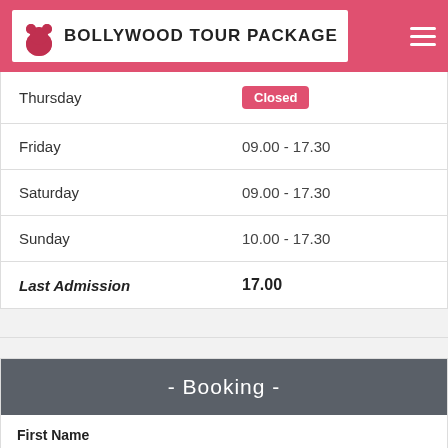BOLLYWOOD TOUR PACKAGE
| Day | Hours |
| --- | --- |
| Thursday | Closed |
| Friday | 09.00 - 17.30 |
| Saturday | 09.00 - 17.30 |
| Sunday | 10.00 - 17.30 |
| Last Admission | 17.00 |
- Booking -
First Name
Enter Your Name
City Name